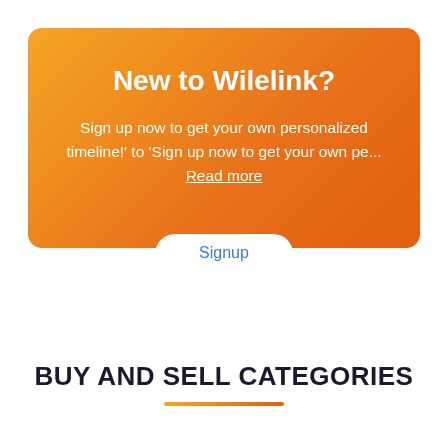New to Wilelink?
Sign up now to get your own personalized timeline!' to 'Sign up now to get your own pe... Read more
Signup
BUY AND SELL CATEGORIES